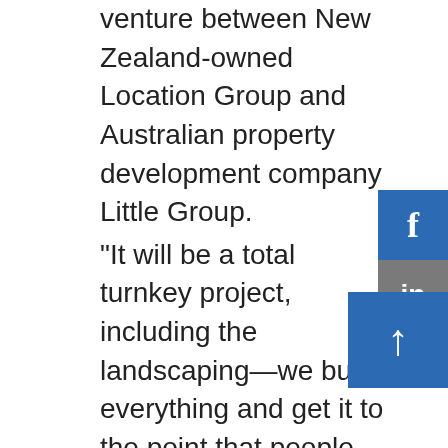venture between New Zealand-owned Location Group and Australian property development company Little Group. "It will be a total turnkey project, including the landscaping—we build everything and get it to the point that people can move in," says Bryce. "We bring an inclusive approach to the whole construction process and like to get involved in early contractor engagement discussions with the client, providing advice, helping the client set a budget, helping the client provide instruction to the consultants and helping the client maintain the budget." With more than 30 years in the industry, Macrennie Construction has also established trusted relationships with all the trades and sub-trades necessary to successfully complete large-scale projects like the Grace Victoria Quarter project. Based in Penrose, Auckland, Macrennie Construction operates anywhere from Pukekohe to just north of Whangarei, and is home and away of business...